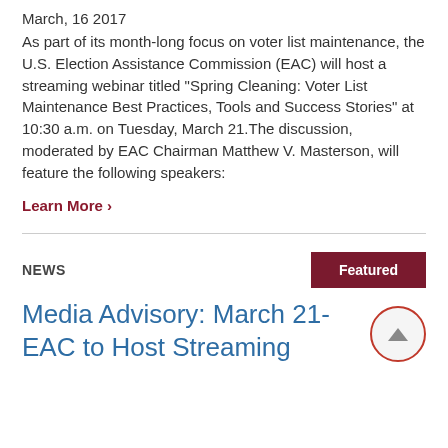March, 16 2017
As part of its month-long focus on voter list maintenance, the U.S. Election Assistance Commission (EAC) will host a streaming webinar titled "Spring Cleaning: Voter List Maintenance Best Practices, Tools and Success Stories" at 10:30 a.m. on Tuesday, March 21.The discussion, moderated by EAC Chairman Matthew V. Masterson, will feature the following speakers:
Learn More >
NEWS
Featured
Media Advisory: March 21- EAC to Host Streaming